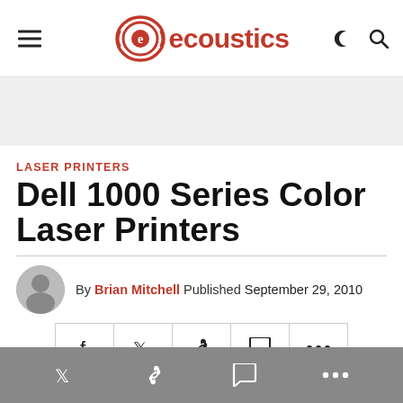ecoustics
[Figure (other): Grey advertisement banner placeholder]
LASER PRINTERS
Dell 1000 Series Color Laser Printers
By Brian Mitchell Published September 29, 2010
[Figure (other): Social share buttons row: Facebook, Twitter, Link, Comment, More]
[Figure (other): Sticky bottom bar with Twitter, Link, Comment, More icons in grey]